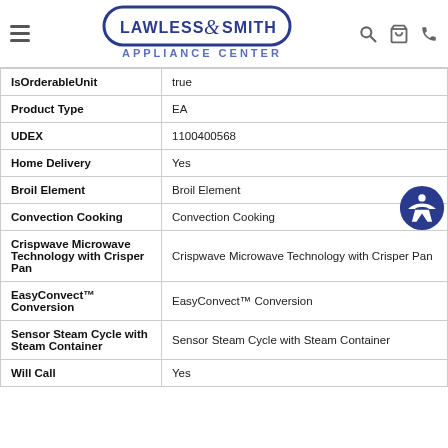Lawless & Smith Appliance Center
| Property | Value |
| --- | --- |
| IsOrderableUnit | true |
| Product Type | EA |
| UDEX | 1100400568 |
| Home Delivery | Yes |
| Broil Element | Broil Element |
| Convection Cooking | Convection Cooking |
| Crispwave Microwave Technology with Crisper Pan | Crispwave Microwave Technology with Crisper Pan |
| EasyConvect™ Conversion | EasyConvect™ Conversion |
| Sensor Steam Cycle with Steam Container | Sensor Steam Cycle with Steam Container |
| Will Call | Yes |